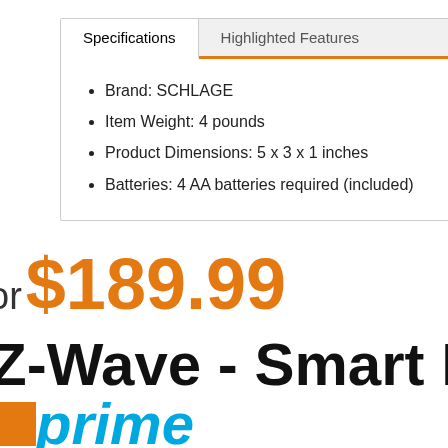Brand: SCHLAGE
Item Weight: 4 pounds
Product Dimensions: 5 x 3 x 1 inches
Batteries: 4 AA batteries required (included)
or $189.99
Z-Wave - Smart L
prime